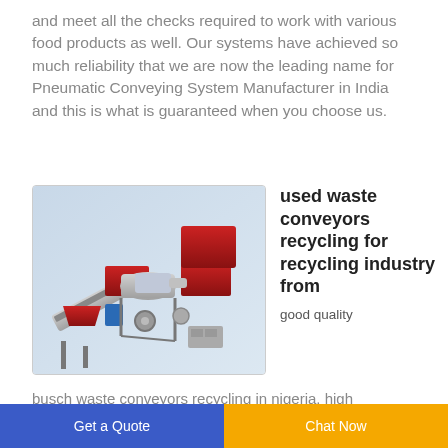and meet all the checks required to work with various food products as well. Our systems have achieved so much reliability that we are now the leading name for Pneumatic Conveying System Manufacturer in India and this is what is guaranteed when you choose us.
[Figure (photo): Industrial conveyor/recycling machinery system with red hoppers and metallic framework, rendered as a 3D CAD model on a light blue-grey background.]
used waste conveyors recycling for recycling industry from
good quality
busch waste conveyors recycling in nigeria. high
Get a Quote   Chat Now